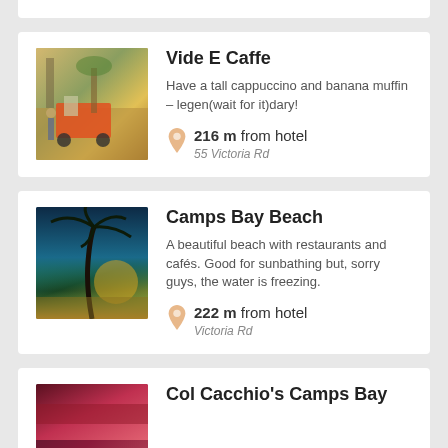[Figure (photo): Top partial white card strip visible at top of page]
Vide E Caffe
[Figure (photo): Outdoor scene with orange/red car, palm trees, person standing, vintage filter]
Have a tall cappuccino and banana muffin – legen(wait for it)dary!
216 m from hotel
55 Victoria Rd
Camps Bay Beach
[Figure (photo): Beach scene with palm tree silhouette against dramatic sunset sky, teal and golden tones]
A beautiful beach with restaurants and cafés. Good for sunbathing but, sorry guys, the water is freezing.
222 m from hotel
Victoria Rd
Col Cacchio's Camps Bay
[Figure (photo): Bottom partial card with photo, warm red/pink tones]